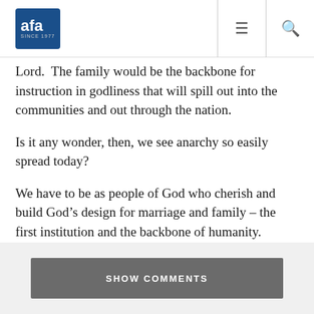AFA since 1977 — navigation header with hamburger menu and search icon
Lord.  The family would be the backbone for instruction in godliness that will spill out into the communities and out through the nation.

Is it any wonder, then, we see anarchy so easily spread today?

We have to be as people of God who cherish and build God's design for marriage and family – the first institution and the backbone of humanity.
SHOW COMMENTS